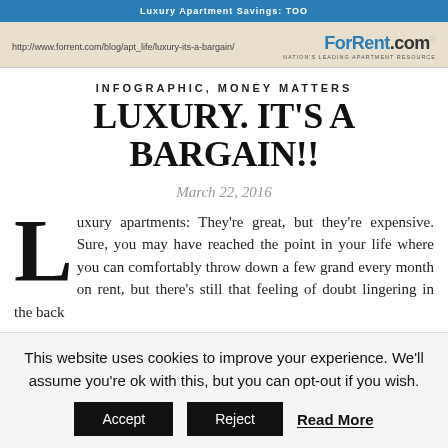[Figure (screenshot): ForRent.com blog banner with URL http://www.forrent.com/blog/apt_life/luxury-its-a-bargain/ and ForRent.com logo with tagline NATION'S LEADING APARTMENT RESOURCE]
INFOGRAPHIC, MONEY MATTERS
LUXURY. IT'S A BARGAIN!!
March 22, 2016
Luxury apartments: They’re great, but they’re expensive. Sure, you may have reached the point in your life where you can comfortably throw down a few grand every month on rent, but there’s still that feeling of doubt lingering in the back
This website uses cookies to improve your experience. We’ll assume you’re ok with this, but you can opt-out if you wish.